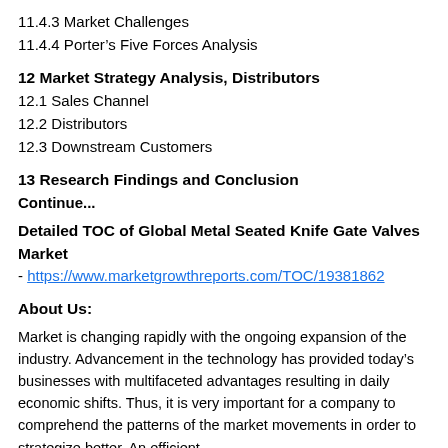11.4.3 Market Challenges
11.4.4 Porter's Five Forces Analysis
12 Market Strategy Analysis, Distributors
12.1 Sales Channel
12.2 Distributors
12.3 Downstream Customers
13 Research Findings and Conclusion
Continue...
Detailed TOC of Global Metal Seated Knife Gate Valves Market
- https://www.marketgrowthreports.com/TOC/19381862
About Us:
Market is changing rapidly with the ongoing expansion of the industry. Advancement in the technology has provided today's businesses with multifaceted advantages resulting in daily economic shifts. Thus, it is very important for a company to comprehend the patterns of the market movements in order to strategize better. An efficient